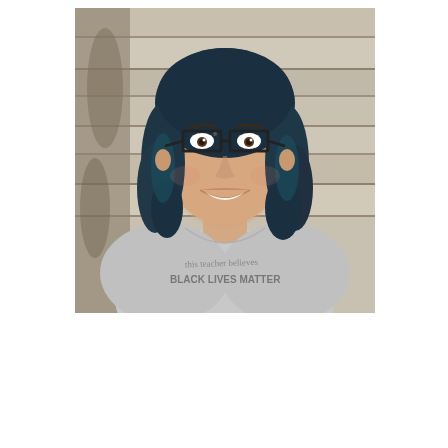[Figure (photo): Portrait photo of a woman with teal/dark blue wavy shoulder-length hair, black rectangular glasses, smiling. She wears a grey t-shirt with text 'this teacher believes BLACK LIVES MATTER'. Background is a wooden plank wall.]
Search the site...